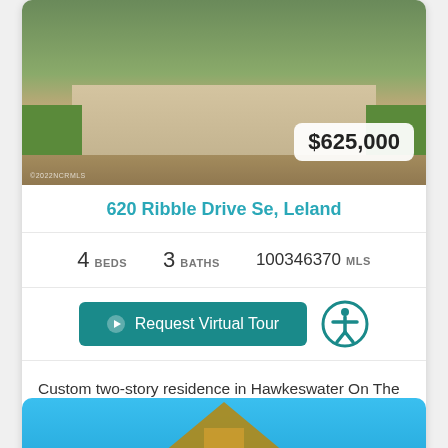[Figure (photo): Exterior photo of a residential property with driveway and grass, price badge showing $625,000]
620 Ribble Drive Se, Leland
4 BEDS  3 BATHS  100346370 MLS
Request Virtual Tour
Custom two-story residence in Hawkeswater On The River community built in 2019 by Charles David Construction. Craftsman style home has much curb appeal thanks to 2-bay at...
[Figure (photo): Partial view of a second property listing with blue sky background]